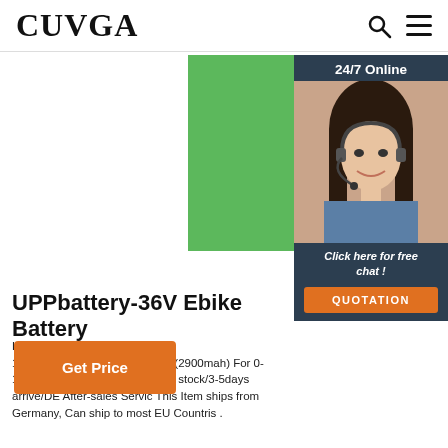CUVGA
[Figure (photo): Green product placeholder image for ebike battery]
[Figure (photo): 24/7 Online chat panel with female customer service agent, 'Click here for free chat!' text and QUOTATION button]
UPPbattery-36V Ebike Battery
Hailong-3 Ebike battery 48V 14.5Ah(BMS30A)Panasonic Cells(2900mah) For 0-1000w Bafang Motor with charger, In stock/3-5days arrive/DE After-sales Servic This Item ships from Germany, Can ship to most EU Countris .
Get Price